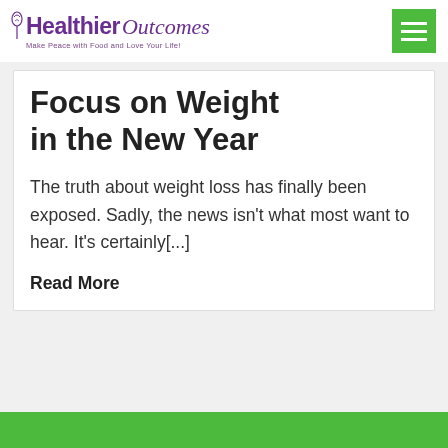Healthier Outcomes — Make Peace with Food and Love Your Life!
Focus on Weight in the New Year
The truth about weight loss has finally been exposed. Sadly, the news isn't what most want to hear. It's certainly[...]
Read More